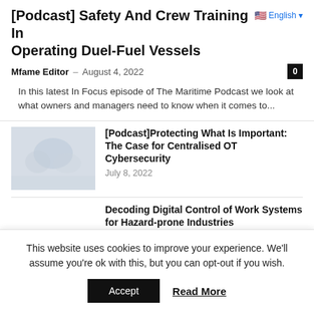[Podcast] Safety And Crew Training In Operating Duel-Fuel Vessels
Mfame Editor – August 4, 2022
In this latest In Focus episode of The Maritime Podcast we look at what owners and managers need to know when it comes to...
[Podcast]Protecting What Is Important: The Case for Centralised OT Cybersecurity
July 8, 2022
Decoding Digital Control of Work Systems for Hazard-prone Industries
July 7, 2022
This website uses cookies to improve your experience. We'll assume you're ok with this, but you can opt-out if you wish.
Accept   Read More